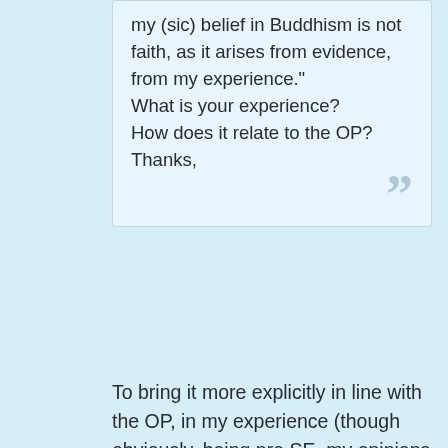my (sic) belief in Buddhism is not faith, as it arises from evidence, from my experience." What is your experience? How does it relate to the OP? Thanks,
To bring it more explicitly in line with the OP, in my experience (though obviously, being pre SE, my opinions are worthless and should be safely ignored), I have found that "unusual phenomena" is conducive to changing of perspective (and an increase in faith). Now why is this? I think one interesting line of explanation is that such states can enhance plasticity in the brain. And it seems that "unusual experiences" AKA mystical or spiritual experiences lead